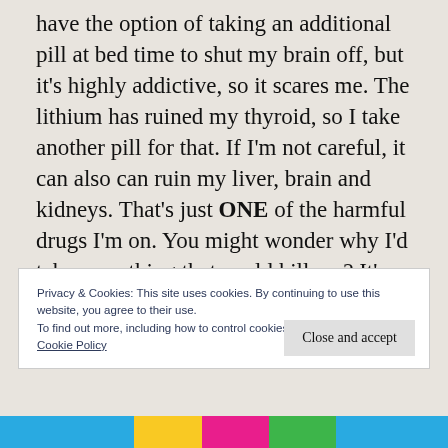have the option of taking an additional pill at bed time to shut my brain off, but it's highly addictive, so it scares me. The lithium has ruined my thyroid, so I take another pill for that. If I'm not careful, it can also can ruin my liver, brain and kidneys. That's just ONE of the harmful drugs I'm on. You might wonder why I'd take something that could kill me? It's because that without it, I will destroy everyone around me.
Privacy & Cookies: This site uses cookies. By continuing to use this website, you agree to their use.
To find out more, including how to control cookies, see here: Cookie Policy
[Figure (illustration): Colorful decorative bar at the bottom of the page with blue, yellow, pink, and green shapes]